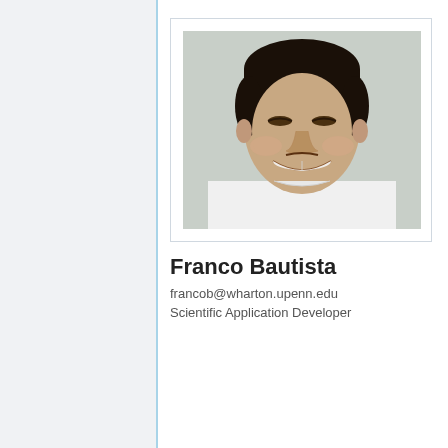[Figure (photo): Headshot photo of Franco Bautista, a young man smiling, wearing a white t-shirt, against a light gray background. Displayed as a polaroid-style card with white border.]
Franco Bautista
francob@wharton.upenn.edu
Scientific Application Developer